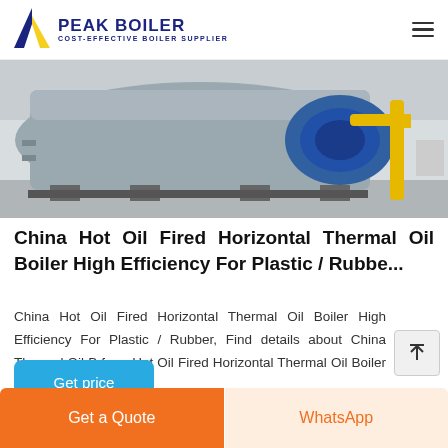PEAK BOILER COST-EFFECTIVE BOILER SUPPLIER
[Figure (photo): Industrial horizontal thermal oil boiler unit in a factory setting, showing a large cylindrical silver boiler body with blue burner assembly and yellow gas pipe fittings on the right side.]
China Hot Oil Fired Horizontal Thermal Oil Boiler High Efficiency For Plastic / Rubbe...
China Hot Oil Fired Horizontal Thermal Oil Boiler High Efficiency For Plastic / Rubber, Find details about China Thermal Oil B from Hot Oil Fired Horizontal Thermal Oil Boiler High Efficiency ...
Get price
Get a Quote | WhatsApp